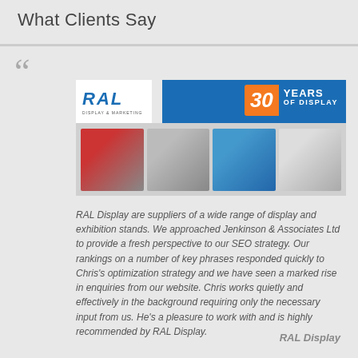What Clients Say
[Figure (photo): RAL Display banner image showing '30 Years of Display' logo at the top and exhibition display stand product thumbnails below.]
RAL Display are suppliers of a wide range of display and exhibition stands. We approached Jenkinson & Associates Ltd to provide a fresh perspective to our SEO strategy. Our rankings on a number of key phrases responded quickly to Chris's optimization strategy and we have seen a marked rise in enquiries from our website. Chris works quietly and effectively in the background requiring only the necessary input from us. He's a pleasure to work with and is highly recommended by RAL Display.
RAL Display